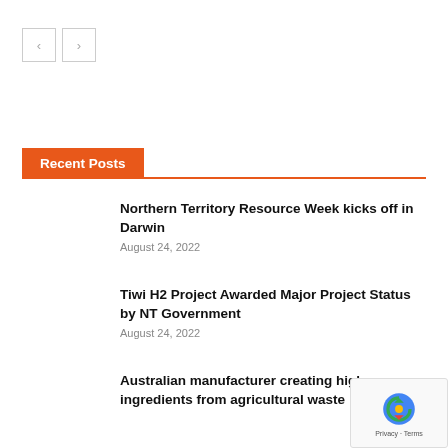< >
Recent Posts
Northern Territory Resource Week kicks off in Darwin
August 24, 2022
Tiwi H2 Project Awarded Major Project Status by NT Government
August 24, 2022
Australian manufacturer creating high ingredients from agricultural waste
August 24, 2022